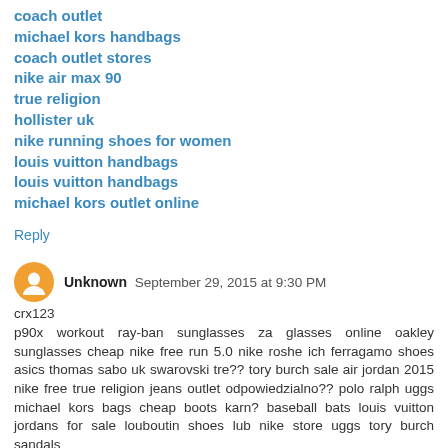coach outlet
michael kors handbags
coach outlet stores
nike air max 90
true religion
hollister uk
nike running shoes for women
louis vuitton handbags
louis vuitton handbags
michael kors outlet online
Reply
Unknown  September 29, 2015 at 9:30 PM
crx123
p90x workout ray-ban sunglasses za glasses online oakley sunglasses cheap nike free run 5.0 nike roshe ich ferragamo shoes asics thomas sabo uk swarovski tre?? tory burch sale air jordan 2015 nike free true religion jeans outlet odpowiedzialno?? polo ralph uggs michael kors bags cheap boots karn? baseball bats louis vuitton jordans for sale louboutin shoes lub nike store uggs tory burch sandals